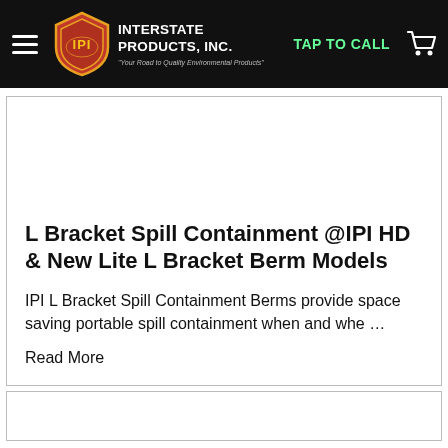Interstate Products, Inc. — TAP TO CALL
L Bracket Spill Containment @IPI HD & New Lite L Bracket Berm Models
IPI L Bracket Spill Containment Berms provide space saving portable spill containment when and whe …
Read More